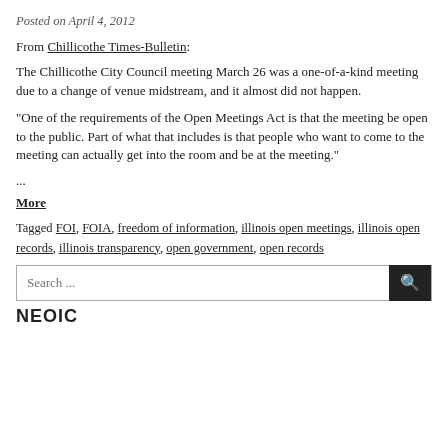Posted on April 4, 2012
From Chillicothe Times-Bulletin:
The Chillicothe City Council meeting March 26 was a one-of-a-kind meeting due to a change of venue midstream, and it almost did not happen.
"One of the requirements of the Open Meetings Act is that the meeting be open to the public. Part of what that includes is that people who want to come to the meeting can actually get into the room and be at the meeting."
...
More
Tagged FOI, FOIA, freedom of information, illinois open meetings, illinois open records, illinois transparency, open government, open records
Search ...
NEOIC